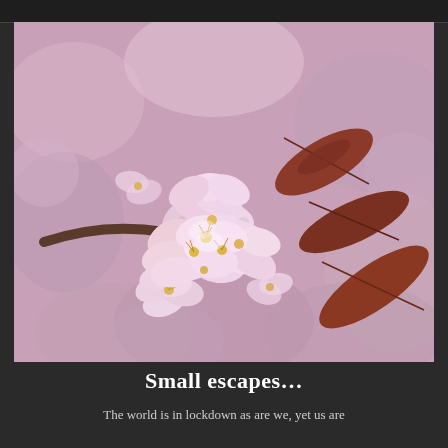[Figure (photo): Close-up photograph of cherry blossom flowers (pale pink, densely clustered) with reddish-brown leaves in the background, soft bokeh pink background]
Small escapes…
The world is in lockdown as are we, yet us are